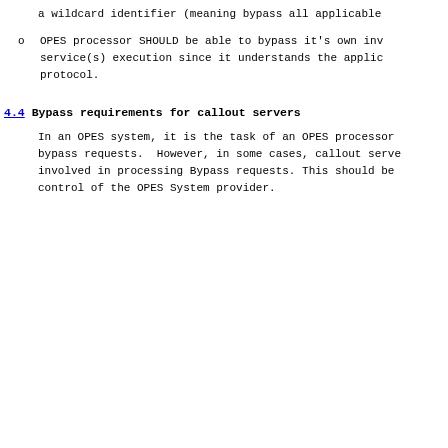a wildcard identifier (meaning bypass all applicable
OPES processor SHOULD be able to bypass it's own inv service(s) execution since it understands the applic protocol.
4.4 Bypass requirements for callout servers
In an OPES system, it is the task of an OPES processor bypass requests.  However, in some cases, callout serve involved in processing Bypass requests. This should be control of the OPES System provider.